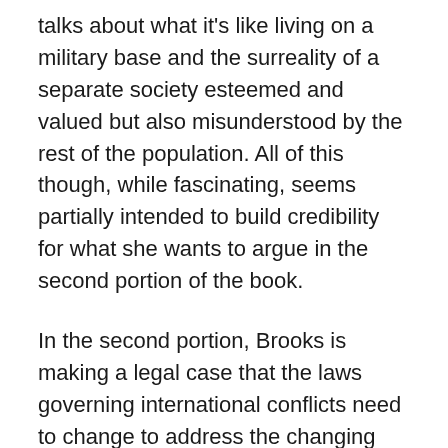talks about what it's like living on a military base and the surreality of a separate society esteemed and valued but also misunderstood by the rest of the population. All of this though, while fascinating, seems partially intended to build credibility for what she wants to argue in the second portion of the book.
In the second portion, Brooks is making a legal case that the laws governing international conflicts need to change to address the changing nature of war. Laws are created to serve a certain purpose, and the laws of war have been created to keep war “boxed off” from the rest of life. But war since globalization and 9/11 puts us in a new era, a grey zone between peace (which, she says, is arguably as artificial a construct as the idea of sovereign states) and war, and we as a global society have the responsibility to change our laws so that they make conflict against a